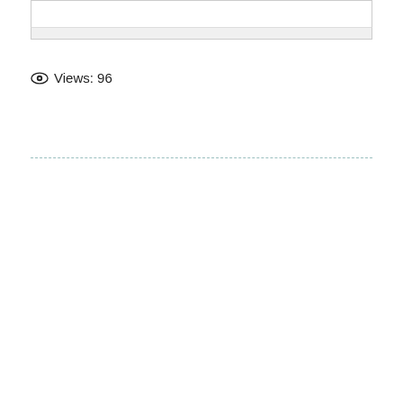[Figure (other): Top bordered box with light gray footer strip]
Views: 96